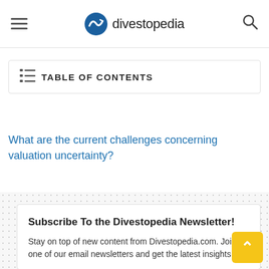divestopedia
TABLE OF CONTENTS
What are the current challenges concerning valuation uncertainty?
Subscribe To the Divestopedia Newsletter!
Stay on top of new content from Divestopedia.com. Join one of our email newsletters and get the latest insights